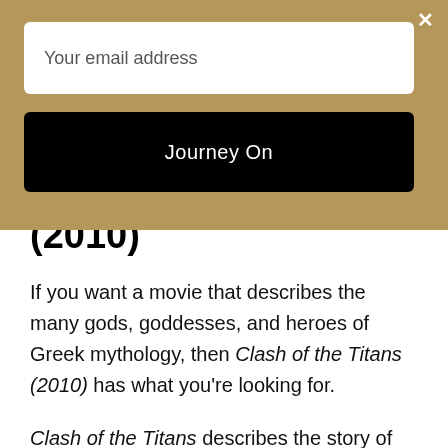Your email address
Journey On
(2010)
If you want a movie that describes the many gods, goddesses, and heroes of Greek mythology, then Clash of the Titans (2010) has what you're looking for.
Clash of the Titans describes the story of Perseus as he discovers his past, fights the Kraken, and rescues Andromeda.